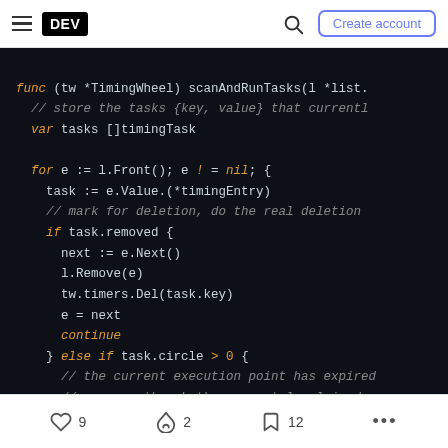DEV — navigation bar with hamburger menu, DEV logo, search icon, Create account button
[Figure (screenshot): Code block showing Go code: func (tw *TimingWheel) scanAndRunTasks(l *list., // store the tasks {key, value} that currentl, var tasks []timingTask, for e := l.Front(); e != nil; {, task := e.Value.(*timingEntry), // mark for deletion, do the real deletion, if task.removed {, next := e.Next(), l.Remove(e), tw.timers.Del(task.key), e = next, continue, } else if task.circle > 0 {, // the current execution point has expired, // so even though the current level is do]
9 likes  2 unicorns  12 bookmarks  ...